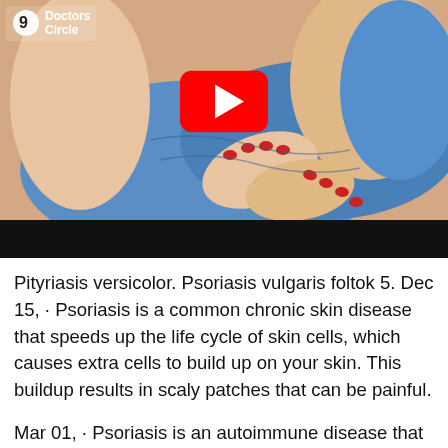[Figure (screenshot): YouTube video thumbnail showing hands scratching skin (psoriasis related), with Doctors Circle logo in top-left and red YouTube play button in center. Black bar at bottom of video player.]
Pityriasis versicolor. Psoriasis vulgaris foltok 5. Dec 15, · Psoriasis is a common chronic skin disease that speeds up the life cycle of skin cells, which causes extra cells to build up on your skin. This buildup results in scaly patches that can be painful.
Mar 01, · Psoriasis is an autoimmune disease that mainly affects the skin. However, the inflammation